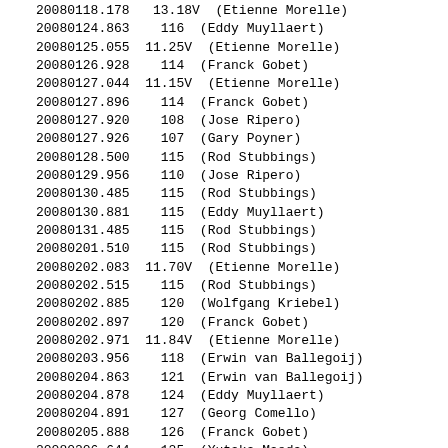20080118.178   13.18V  (Etienne Morelle)
20080124.863    116  (Eddy Muyllaert)
20080125.055  11.25V  (Etienne Morelle)
20080126.928    114  (Franck Gobet)
20080127.044  11.15V  (Etienne Morelle)
20080127.896    114  (Franck Gobet)
20080127.920    108  (Jose Ripero)
20080127.926    107  (Gary Poyner)
20080128.500    115  (Rod Stubbings)
20080129.956    110  (Jose Ripero)
20080130.485    115  (Rod Stubbings)
20080130.881    115  (Eddy Muyllaert)
20080131.485    115  (Rod Stubbings)
20080201.510    115  (Rod Stubbings)
20080202.083  11.70V  (Etienne Morelle)
20080202.515    115  (Rod Stubbings)
20080202.885    120  (Wolfgang Kriebel)
20080202.897    120  (Franck Gobet)
20080202.971  11.84V  (Etienne Morelle)
20080203.956    118  (Erwin van Ballegoij)
20080204.863    121  (Erwin van Ballegoij)
20080204.878    124  (Eddy Muyllaert)
20080204.891    127  (Georg Comello)
20080205.888    126  (Franck Gobet)
20080206.644    125  (Yutaka Maeda)
20080206.840    128  (Georg Comello)
20080206.860    127  (Eddy Muyllaert)
20080206.867    127  (Erwin van Ballegoij)
20080206.880    127  (Franck Gobet)
20080206.974  12.60V  (Etienne Morelle)